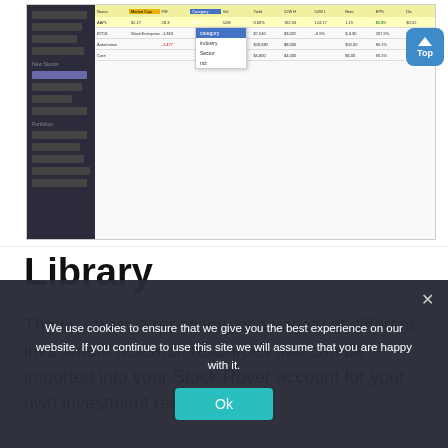[Figure (screenshot): Screenshot of Stock Rover investment research software interface showing a data table with stock information, a sidebar navigation panel with dark background, and a dropdown menu open over the table.]
Library
The Library is a repository of a variety of different investment research resources that can be imported into your Stock Rover account for your own investment research use.
We use cookies to ensure that we give you the best experience on our website. If you continue to use this site we will assume that you are happy with it.